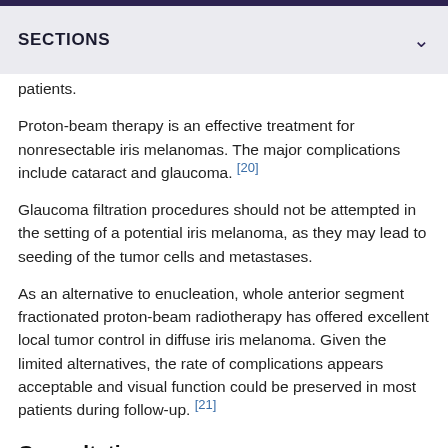SECTIONS
patients.
Proton-beam therapy is an effective treatment for nonresectable iris melanomas. The major complications include cataract and glaucoma. [20]
Glaucoma filtration procedures should not be attempted in the setting of a potential iris melanoma, as they may lead to seeding of the tumor cells and metastases.
As an alternative to enucleation, whole anterior segment fractionated proton-beam radiotherapy has offered excellent local tumor control in diffuse iris melanoma. Given the limited alternatives, the rate of complications appears acceptable and visual function could be preserved in most patients during follow-up. [21]
Consultations
Iris melanoma usually needs to be treated in coordination with an ophthalmologist/oncologist, especially if a